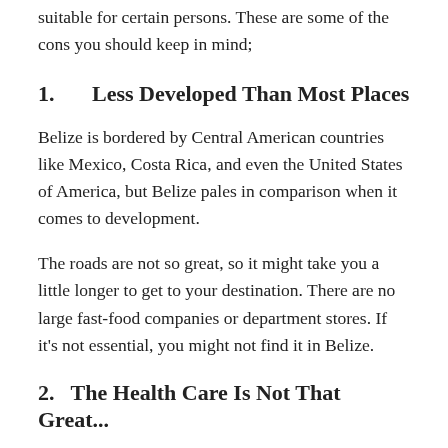suitable for certain persons. These are some of the cons you should keep in mind;
1.    Less Developed Than Most Places
Belize is bordered by Central American countries like Mexico, Costa Rica, and even the United States of America, but Belize pales in comparison when it comes to development.
The roads are not so great, so it might take you a little longer to get to your destination. There are no large fast-food companies or department stores. If it’s not essential, you might not find it in Belize.
2. The Health Care Is Not That Great...